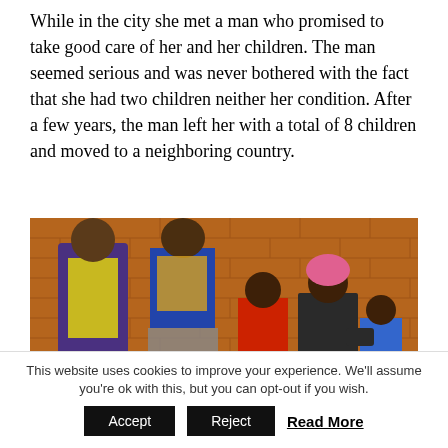While in the city she met a man who promised to take good care of her and her children. The man seemed serious and was never bothered with the fact that she had two children neither her condition. After a few years, the man left her with a total of 8 children and moved to a neighboring country.
[Figure (photo): A family of five people standing in front of a brick wall. Two adults and three children. The adults are wearing colorful clothing. One child is being held.]
This website uses cookies to improve your experience. We'll assume you're ok with this, but you can opt-out if you wish.
Accept | Reject | Read More